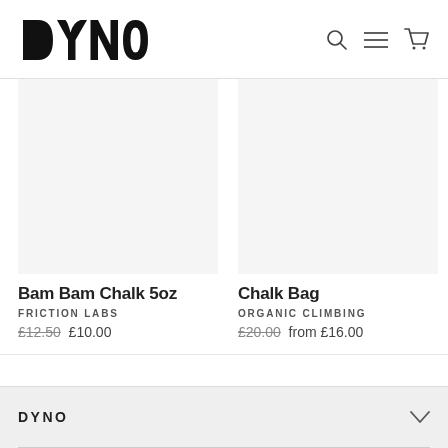DYNO logo with search, menu, and cart icons
[Figure (other): Product image placeholder for Bam Bam Chalk 5oz]
Bam Bam Chalk 5oz
FRICTION LABS
£12.50  £10.00
[Figure (other): Product image placeholder for Chalk Bag]
Chalk Bag
ORGANIC CLIMBING
£20.00  from £16.00
DYNO